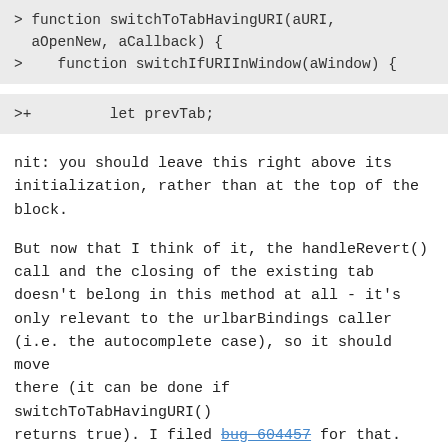> function switchToTabHavingURI(aURI, aOpenNew, aCallback) {
>    function switchIfURIInWindow(aWindow) {
>+        let prevTab;
nit: you should leave this right above its initialization, rather than at the top of the block.
But now that I think of it, the handleRevert() call and the closing of the existing tab doesn't belong in this method at all - it's only relevant to the urlbarBindings caller (i.e. the autocomplete case), so it should move there (it can be done if switchToTabHavingURI() returns true). I filed bug 604457 for that.
>    if (!(aURI instanceof Ci.nsIURI))